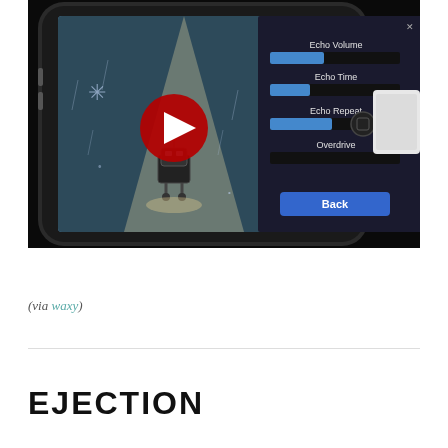[Figure (screenshot): A photograph of an iPhone displaying a music/audio app screen with a cartoon robot character in a spotlit scene and a settings panel showing Echo Volume, Echo Time, Echo Repeat sliders and Overdrive option with a Back button. A YouTube play button overlay is visible on the phone screen. The phone is partially obscured by a white device on the right side.]
(via waxy)
EJECTION